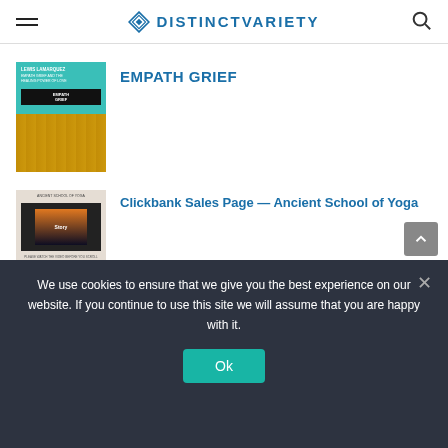DISTINCTVARIETY
[Figure (illustration): Book cover thumbnail for Empath Grief - teal top half with text, yellow/gold bottom half with crowd image and dark badge]
EMPATH GRIEF
[Figure (screenshot): Clickbank sales page thumbnail showing a monitor screen with sunset/yoga scene and Story label, with footer text and button bar]
Clickbank Sales Page — Ancient School of Yoga
Dr. For Fitness — Book of Health
We use cookies to ensure that we give you the best experience on our website. If you continue to use this site we will assume that you are happy with it.